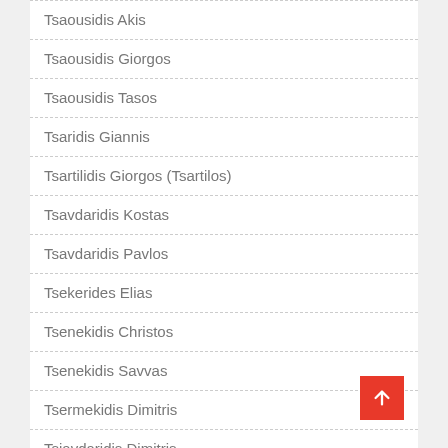Tsaousidis Akis
Tsaousidis Giorgos
Tsaousidis Tasos
Tsaridis Giannis
Tsartilidis Giorgos (Tsartilos)
Tsavdaridis Kostas
Tsavdaridis Pavlos
Tsekerides Elias
Tsenekidis Christos
Tsenekidis Savvas
Tsermekidis Dimitris
Tsiavdaridis Dimitris